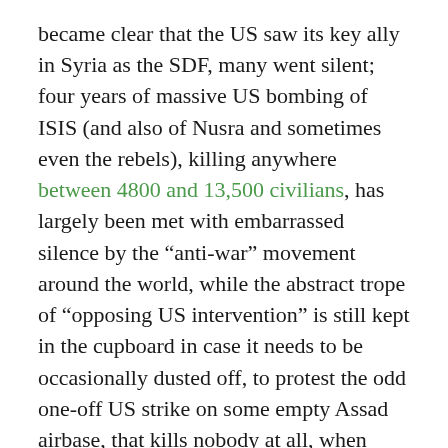became clear that the US saw its key ally in Syria as the SDF, many went silent; four years of massive US bombing of ISIS (and also of Nusra and sometimes even the rebels), killing anywhere between 4800 and 13,500 civilians, has largely been met with embarrassed silence by the “anti-war” movement around the world, while the abstract trope of “opposing US intervention” is still kept in the cupboard in case it needs to be occasionally dusted off, to protest the odd one-off US strike on some empty Assad airbase, that kills nobody at all, when Assad indulges in chemical warfare.
In recent weeks and months, US air-borne terror has been increasing. In mid-